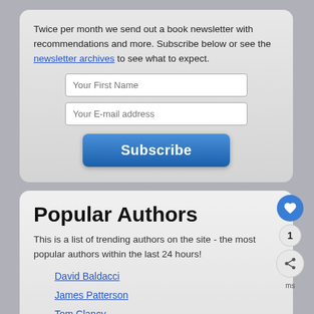Twice per month we send out a book newsletter with recommendations and more. Subscribe below or see the newsletter archives to see what to expect.
[Figure (screenshot): Newsletter subscription form with First Name field, E-mail address field, and a blue Subscribe button]
Popular Authors
This is a list of trending authors on the site - the most popular authors within the last 24 hours!
David Baldacci
James Patterson
Tom Clancy
John Sandford